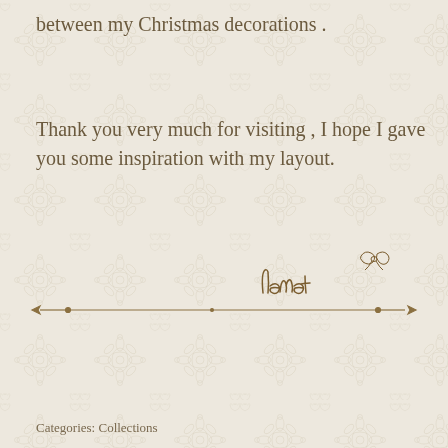between my Christmas decorations .
Thank you very much for visiting , I hope I gave you some inspiration with my layout.
[Figure (illustration): Handwritten cursive signature reading 'Lenet' with a small decorative bow/flourish above it]
[Figure (illustration): Horizontal decorative divider line with ornamental arrow ends and small flourish in the center]
Categories: Collections